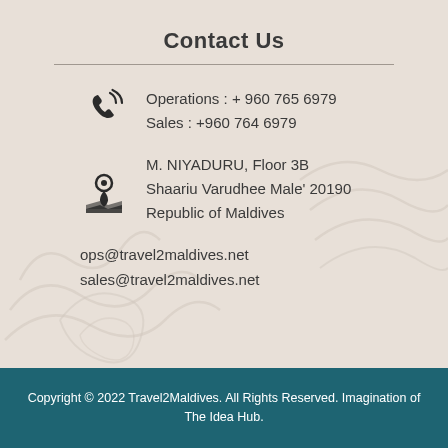Contact Us
Operations : + 960 765 6979
Sales : +960 764 6979
M. NIYADURU, Floor 3B
Shaariu Varudhee Male' 20190
Republic of Maldives
ops@travel2maldives.net
sales@travel2maldives.net
Copyright © 2022 Travel2Maldives. All Rights Reserved. Imagination of The Idea Hub.